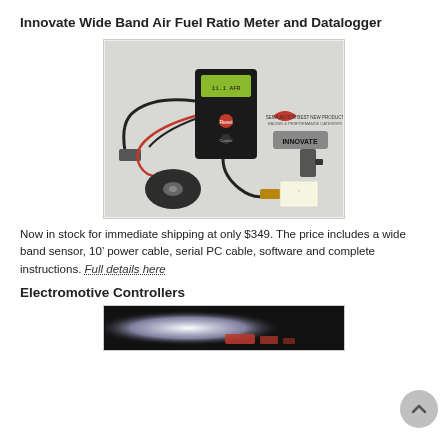Innovate Wide Band Air Fuel Ratio Meter and Datalogger
[Figure (photo): Photo of the Innovate Wide Band Air Fuel Ratio Meter and Datalogger kit, showing the black handheld device with LCD display, wiring harness, oxygen sensor probe, CD software disc, and Innovate brand badge.]
Now in stock for immediate shipping at only $349. The price includes a wide band sensor, 10’ power cable, serial PC cable, software and complete instructions. Full details here
Electromotive Controllers
[Figure (photo): Partial photo of an Electromotive Controllers product showing bright white light and red components, partially cropped at bottom of page.]